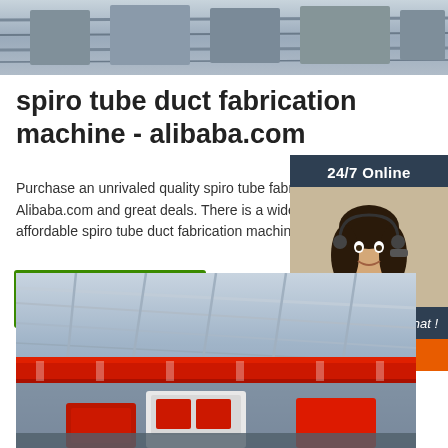[Figure (photo): Top industrial/machinery image, partial view of manufacturing equipment, grey tones]
spiro tube duct fabrication machine - alibaba.com
Purchase an unrivaled quality spiro tube fabrication machine on Alibaba.com and great deals. There is a wide variety of affordable spiro tube duct fabrication machine available
[Figure (infographic): Right-side widget: '24/7 Online' header in dark navy, photo of smiling woman with headset, 'Click here for free chat!' text, orange QUOTATION button]
[Figure (photo): Bottom photo of industrial warehouse interior with red overhead crane beam and manufacturing equipment]